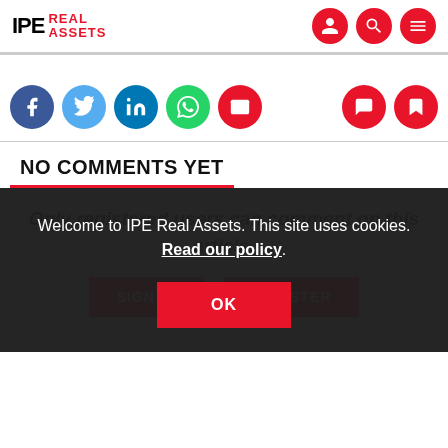IPE Real Assets
[Figure (infographic): Social sharing icons: Facebook, Twitter, LinkedIn, WhatsApp, Email; and action icons: comment, bookmark]
NO COMMENTS YET
Only registered users can comment on this article.
SIGN IN   REGISTER
Welcome to IPE Real Assets. This site uses cookies. Read our policy.
OK